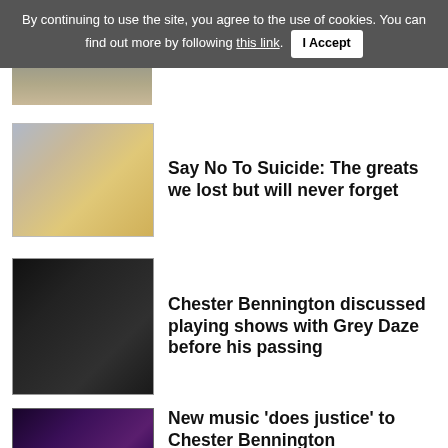By continuing to use the site, you agree to the use of cookies. You can find out more by following this link. I Accept
[Figure (photo): Partial view of a person's face/hair cropped at top]
[Figure (photo): Person with dyed hair (yellow/orange highlights) wearing a patterned top]
Say No To Suicide: The greats we lost but will never forget
[Figure (photo): Person wearing sunglasses and black jacket, smiling, with Mercedes-Benz logo in background]
Chester Bennington discussed playing shows with Grey Daze before his passing
[Figure (photo): Partial image with purple/dark background]
New music 'does justice' to Chester Bennington